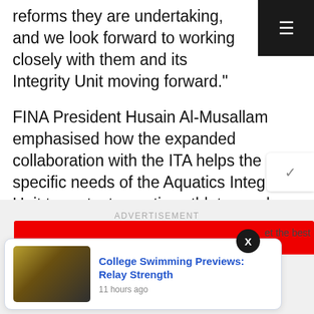reforms they are undertaking, and we look forward to working closely with them and its Integrity Unit moving forward."
FINA President Husain Al-Musallam emphasised how the expanded collaboration with the ITA helps the specific needs of the Aquatics Integrity Unit to protect aquatics athletes and ensure a level playing field.
ADVERTISEMENT
[Figure (screenshot): College Swimming Previews: Relay Strength notification card with swimmer thumbnail image, blue link text title, and timestamp '11 hours ago']